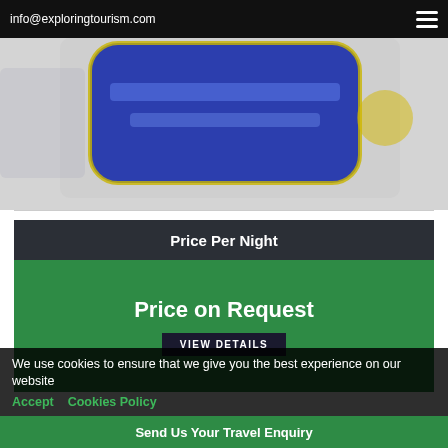info@exploringtourism.com
[Figure (photo): Blurred/partial image showing a blue rounded rectangle logo on a light background, appears to be a hotel or tourism brand logo]
Price Per Night
Price on Request
VIEW DETAILS
We use cookies to ensure that we give you the best experience on our website   Accept   Cookies Policy
Send Us Your Travel Enquiry